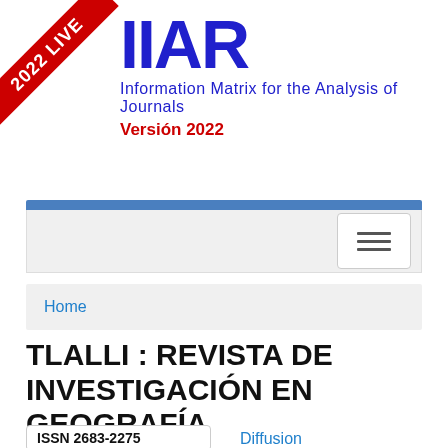[Figure (logo): MIAR logo with red ribbon banner saying 2022 LIVE]
Information Matrix for the Analysis of Journals
Versión 2022
[Figure (screenshot): Navigation bar with blue top bar and hamburger menu button]
Home
TLALLI : REVISTA DE INVESTIGACIÓN EN GEOGRAFÍA
ISSN 2683-2275
Diffusion